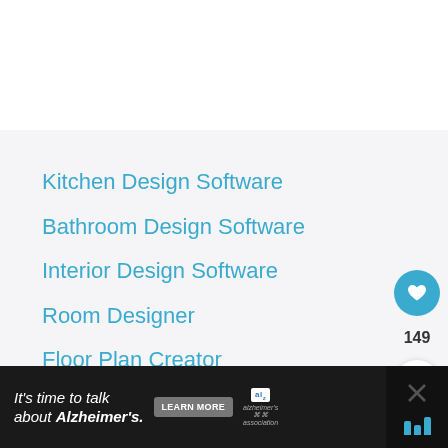Kitchen Design Software
Bathroom Design Software
Interior Design Software
Room Designer
Floor Plan Creator
[Figure (infographic): Sidebar buttons: heart/favorite icon (blue circle), like count 149, share button (white circle with share icon)]
[Figure (infographic): Advertisement banner at bottom: black background, text 'It's time to talk about Alzheimer's.', LEARN MORE button, Alzheimer's Association logo, close X button on far right]